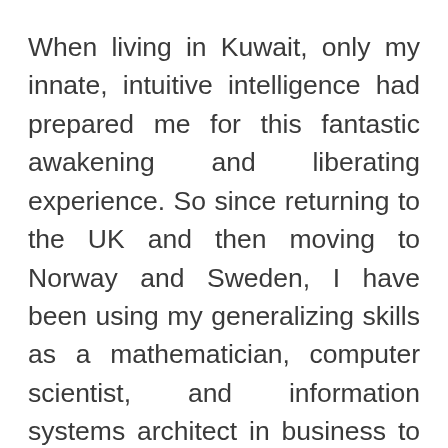When living in Kuwait, only my innate, intuitive intelligence had prepared me for this fantastic awakening and liberating experience. So since returning to the UK and then moving to Norway and Sweden, I have been using my generalizing skills as a mathematician, computer scientist, and information systems architect in business to understand and rationalize my life experiences so that I could communicate what I can see to those with at-least some similar experiences. Hence this website, which I began to set up in the summer of